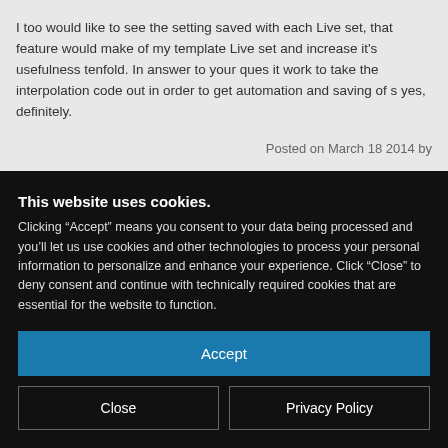I too would like to see the setting saved with each Live set, that feature would make of my template Live set and increase it's usefulness tenfold. In answer to your ques it work to take the interpolation code out in order to get automation and saving of s yes, definitely.
Posted on March 18 2014 by
Good to know. I'm in the midst of a major project but should have time in a couple o update it.
This website uses cookies. Clicking “Accept” means you consent to your data being processed and you’ll let us use cookies and other technologies to process your personal information to personalize and enhance your experience. Click “Close” to deny consent and continue with technically required cookies that are essential for the website to function.
Accept
Close
Privacy Policy